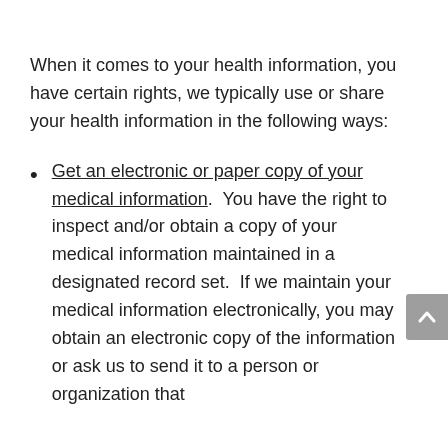When it comes to your health information, you have certain rights, we typically use or share your health information in the following ways:
Get an electronic or paper copy of your medical information.  You have the right to inspect and/or obtain a copy of your medical information maintained in a designated record set.  If we maintain your medical information electronically, you may obtain an electronic copy of the information or ask us to send it to a person or organization that